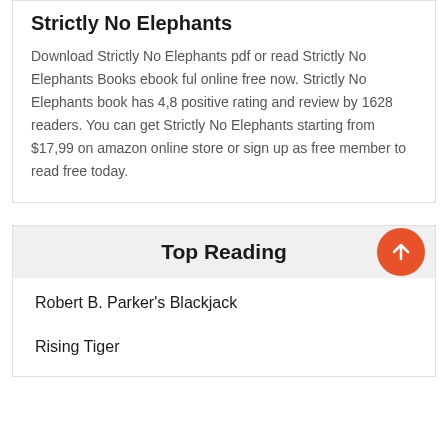Strictly No Elephants
Download Strictly No Elephants pdf or read Strictly No Elephants Books ebook ful online free now. Strictly No Elephants book has 4,8 positive rating and review by 1628 readers. You can get Strictly No Elephants starting from $17,99 on amazon online store or sign up as free member to read free today.
Top Reading
Robert B. Parker's Blackjack
Rising Tiger